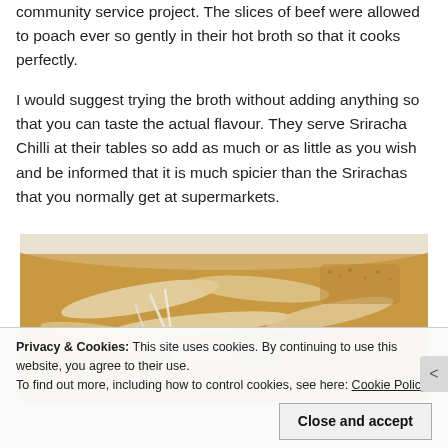community service project. The slices of beef were allowed to poach ever so gently in their hot broth so that it cooks perfectly.
I would suggest trying the broth without adding anything so that you can taste the actual flavour. They serve Sriracha Chilli at their tables so add as much or as little as you wish and be informed that it is much spicier than the Srirachas that you normally get at supermarkets.
[Figure (photo): Close-up photo of a bowl of noodle soup with wide flat noodles, bean sprouts, vegetables, and golden broth]
Privacy & Cookies: This site uses cookies. By continuing to use this website, you agree to their use.
To find out more, including how to control cookies, see here: Cookie Policy
Close and accept